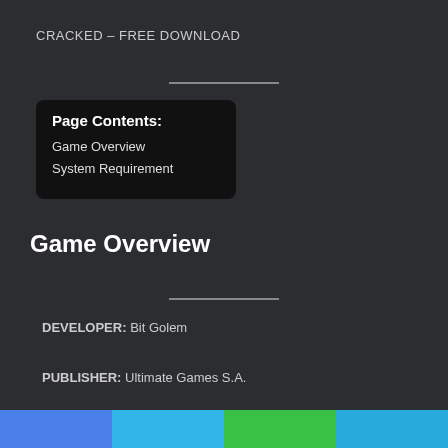CRACKED – FREE DOWNLOAD
Page Contents:
Game Overview
System Requirement
Game Overview
DEVELOPER: Bit Golem
PUBLISHER: Ultimate Games S.A.